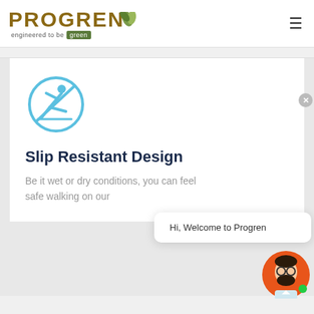[Figure (logo): Progren logo with brown/olive text and green leaf icon, tagline 'engineered to be green' with green badge]
[Figure (illustration): Slip resistant icon: blue circular sign showing a person slipping with a diagonal line through it]
Slip Resistant Design
Be it wet or dry conditions, you can feel safe walking on our
Hi, Welcome to Progren
[Figure (illustration): Chat assistant avatar: cartoon man with beard and glasses on orange circle background with green dot indicator]